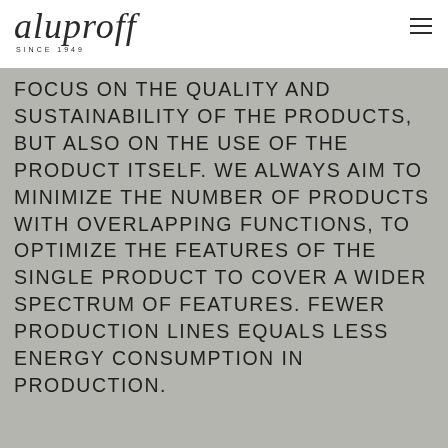aluproff SINCE 1949
FOCUS ON THE QUALITY AND SUSTAINABILITY OF THE PRODUCTS, BUT ALSO ON THE USE OF THE PRODUCT ITSELF. WE ALWAYS AIM TO MINIMIZE THE NUMBER OF PRODUCTS WITH OVERLAPPING FUNCTIONS, TO OPTIMIZE THE FEATURES OF THE SINGLE PRODUCT TO COVER A WIDER SPECTRUM OF FEATURES. FEWER PRODUCTION LINES EQUALS LESS ENERGY CONSUMPTION IN PRODUCTION.